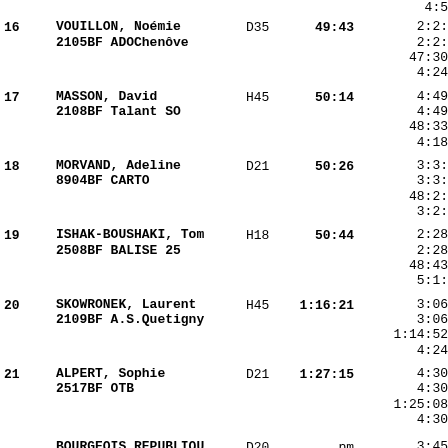| Rank | Name/Club | Cat | Time | Splits |
| --- | --- | --- | --- | --- |
| 16 | VOUILLON, Noémie
2105BF ADOChenôve | D35 | 49:43 | 4:5
2:2:
2:2:
47:30
4:24 |
| 17 | MASSON, David
2108BF Talant SO | H45 | 50:14 | 4:49
4:49
48:33
4:18 |
| 18 | MORVAND, Adeline
8904BF CARTO | D21 | 50:26 | 3:3:
3:3:
48:2:
3:2: |
| 19 | ISHAK-BOUSHAKI, Tom
2508BF BALISE 25 | H18 | 50:44 | 2:28
2:28
48:43
5:1: |
| 20 | SKOWRONEK, Laurent
2109BF A.S.Quetigny | H45 | 1:16:21 | 3:06
3:06
1:14:52
4:24 |
| 21 | ALPERT, Sophie
2517BF OTB | D21 | 1:27:15 | 4:30
4:30
1:25:08
4:30 |
|  | BOURGEOIS REPUBLIQU
2517BF OTB | D20 | pm | 3:45
3:45
---- |
|  | CHERIER, ...
... | H1? | 47:47 | ... |